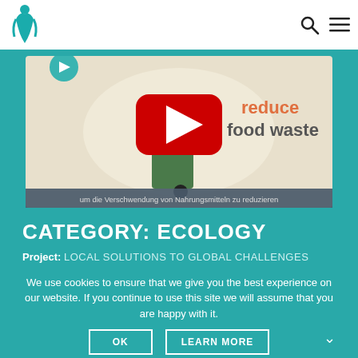Navigation bar with logo and search/menu icons
[Figure (screenshot): YouTube video thumbnail showing a green trash bin with 'reduce food waste' text and YouTube play button. Subtitle: 'um die Verschwendung von Nahrungsmitteln zu reduzieren']
CATEGORY: ECOLOGY
Project: LOCAL SOLUTIONS TO GLOBAL CHALLENGES
We use cookies to ensure that we give you the best experience on our website. If you continue to use this site we will assume that you are happy with it.
OK   LEARN MORE